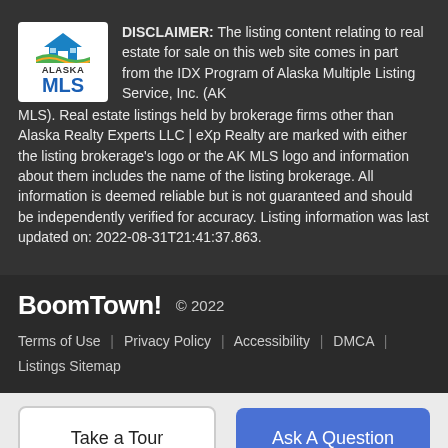DISCLAIMER: The listing content relating to real estate for sale on this web site comes in part from the IDX Program of Alaska Multiple Listing Service, Inc. (AK MLS). Real estate listings held by brokerage firms other than Alaska Realty Experts LLC | eXp Realty are marked with either the listing brokerage's logo or the AK MLS logo and information about them includes the name of the listing brokerage. All information is deemed reliable but is not guaranteed and should be independently verified for accuracy. Listing information was last updated on: 2022-08-31T21:41:37.863.
BoomTown! © 2022
Terms of Use | Privacy Policy | Accessibility | DMCA | Listings Sitemap
Take a Tour
Ask A Question